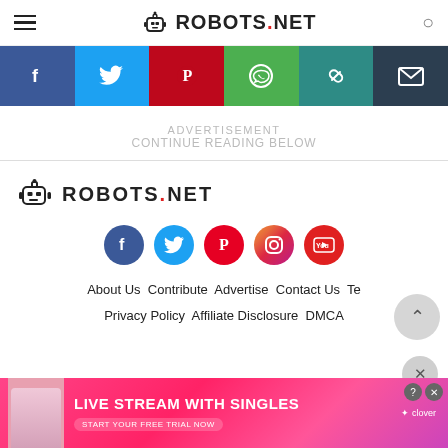ROBOTS.NET
[Figure (infographic): Social sharing bar with Facebook, Twitter, Pinterest, WhatsApp, copy-link, and email buttons]
ADVERTISEMENT
CONTINUE READING BELOW
[Figure (logo): Robots.net logo with robot icon]
[Figure (infographic): Footer social media icons: Facebook, Twitter, Pinterest, Instagram, YouTube]
About Us  Contribute  Advertise  Contact Us  Te
Privacy Policy  Affiliate Disclosure  DMCA
[Figure (photo): Advertisement banner: Live Stream With Singles - Start Your Free Trial Now, Clover app]